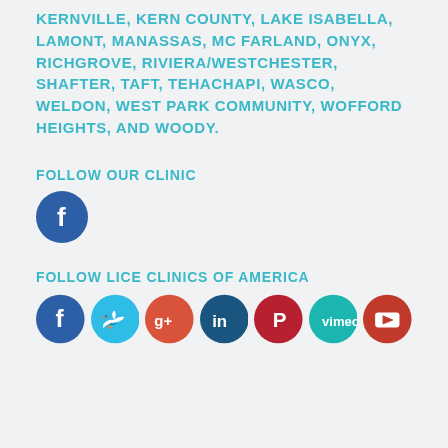KERNVILLE, KERN COUNTY, LAKE ISABELLA, LAMONT, MANASSAS, MC FARLAND, ONYX, RICHGROVE, RIVIERA/WESTCHESTER, SHAFTER, TAFT, TEHACHAPI, WASCO, WELDON, WEST PARK COMMUNITY, WOFFORD HEIGHTS, AND WOODY.
FOLLOW OUR CLINIC
[Figure (illustration): Facebook social media icon - dark blue circle with white 'f' logo]
FOLLOW LICE CLINICS OF AMERICA
[Figure (illustration): Row of 7 social media icons: Facebook (dark blue), Twitter (light blue), Google+ (red-orange), LinkedIn (dark blue), Pinterest (red), Vimeo (teal), YouTube (red)]